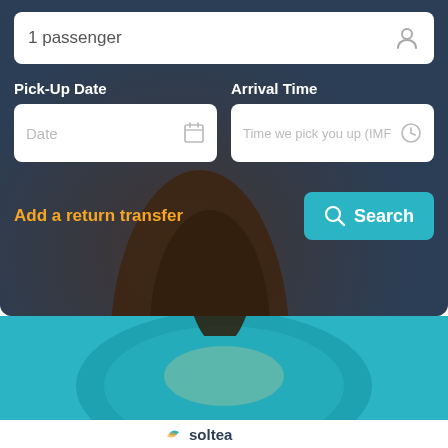1 passenger
Pick-Up Date
Arrival Time
Date
Time we pick you up (IMF
Add a return transfer
Search
[Figure (screenshot): Travel booking form UI showing passenger count, pick-up date, arrival time fields, add return transfer link, and a search button. Below is a teal background with a partially visible Soltea logo.]